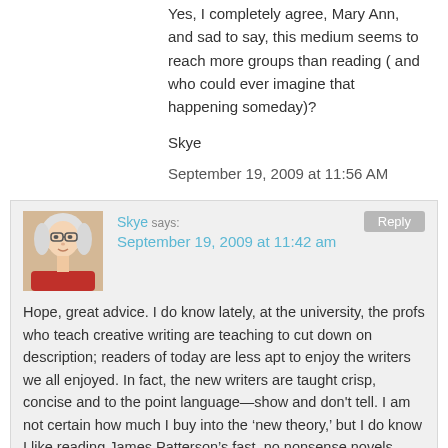Yes, I completely agree, Mary Ann, and sad to say, this medium seems to reach more groups than reading ( and who could ever imagine that happening someday)?
Skye
September 19, 2009 at 11:56 AM
Skye says: September 19, 2009 at 11:42 am
Hope, great advice. I do know lately, at the university, the profs who teach creative writing are teaching to cut down on description; readers of today are less apt to enjoy the writers we all enjoyed. In fact, the new writers are taught crisp, concise and to the point language—show and don't tell. I am not certain how much I buy into the 'new theory,' but I do know I like reading James Patterson's fast, no nonsense novels. Charged, fast paced, and to the point.
Skye
September 19, 2009 at 11:42 AM